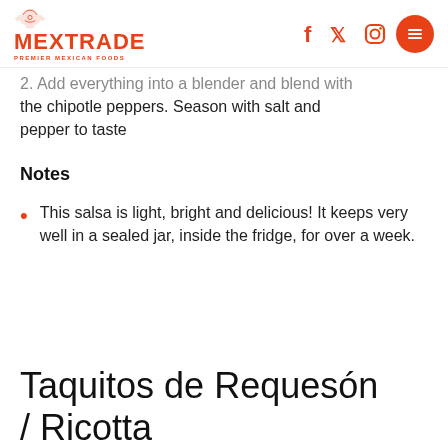MEXTRADE — PREMIER MEXICAN FOODS
2. Add everything into a blender and blend with the chipotle peppers. Season with salt and pepper to taste
Notes
This salsa is light, bright and delicious! It keeps very well in a sealed jar, inside the fridge, for over a week.
Taquitos de Requesón / Ricotta